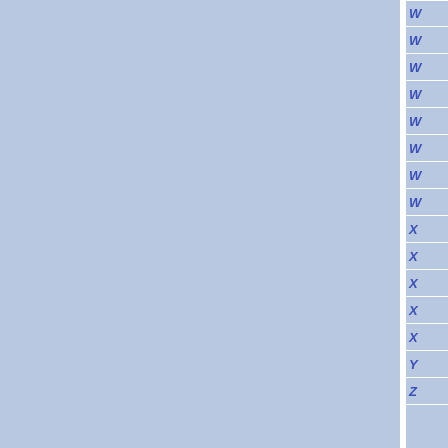[Figure (other): Blue background panel with white vertical divider and alphabetical index sidebar on the right showing letters W through Z in italic blue text]
W
W
W
W
W
W
W
W
X
X
X
X
X
Y
Z